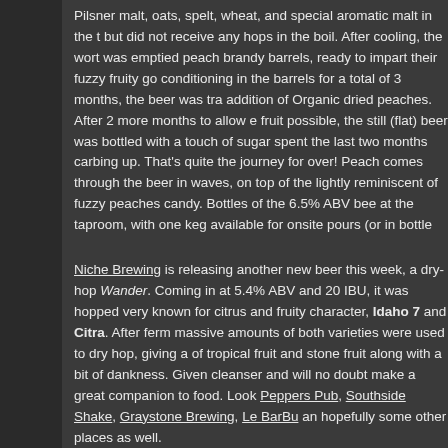Pilsner malt, oats, spelt, wheat, and special aromatic malt in the t... but did not receive any hops in the boil. After cooling, the wort was... emptied peach brandy barrels, ready to impart their fuzzy fruity go... conditioning in the barrels for a total of 3 months, the beer was tra... addition of Organic dried peaches. After 2 more months to allow e... fruit possible, the still (flat) beer was bottled with a touch of sugar... spent the last two months carbing up. That's quite the journey for... over! Peach comes through the beer in waves, on top of the lightly... reminiscent of fuzzy peaches candy. Bottles of the 6.5% ABV bee... at the taproom, with one keg available for onsite pours (or in bottle...
Niche Brewing is releasing another new beer this week, a dry-hop... Wander. Coming in at 5.4% ABV and 20 IBU, it was hopped very... known for citrus and fruity character, Idaho 7 and Citra. After ferm... massive amounts of both varieties were used to dry hop, giving a... of tropical fruit and stone fruit along with a bit of dankness. Given... cleanser and will no doubt make a great companion to food. Look... Peppers Pub, Southside Shake, Graystone Brewing, Le BarBu an... hopefully some other places as well.
Propeller Brewing keeps the new beers coming and coming, with... keep your thirsty satisfied, just in time for the weekend.